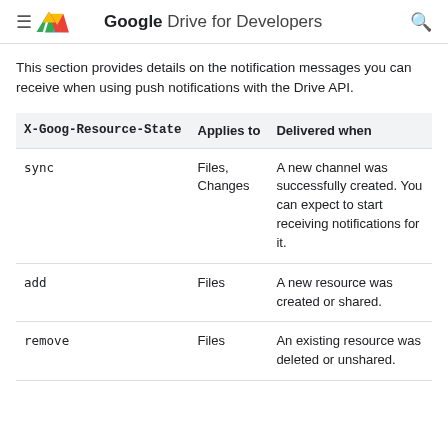Google Drive for Developers
This section provides details on the notification messages you can receive when using push notifications with the Drive API.
| X-Goog-Resource-State | Applies to | Delivered when |
| --- | --- | --- |
| sync | Files, Changes | A new channel was successfully created. You can expect to start receiving notifications for it. |
| add | Files | A new resource was created or shared. |
| remove | Files | An existing resource was deleted or unshared. |